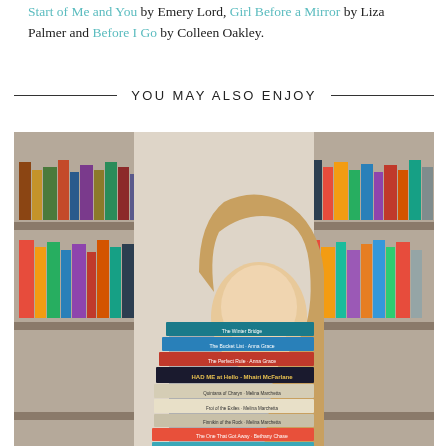Start of Me and You by Emery Lord, Girl Before a Mirror by Liza Palmer and Before I Go by Colleen Oakley.
YOU MAY ALSO ENJOY
[Figure (photo): A woman with long blonde hair wearing a grey t-shirt holds a tall stack of books in front of her face, standing in front of bookshelves filled with books.]